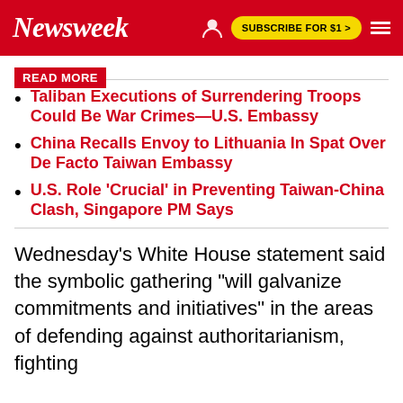Newsweek  SUBSCRIBE FOR $1 >
READ MORE
Taliban Executions of Surrendering Troops Could Be War Crimes—U.S. Embassy
China Recalls Envoy to Lithuania In Spat Over De Facto Taiwan Embassy
U.S. Role 'Crucial' in Preventing Taiwan-China Clash, Singapore PM Says
Wednesday's White House statement said the symbolic gathering "will galvanize commitments and initiatives" in the areas of defending against authoritarianism, fighting